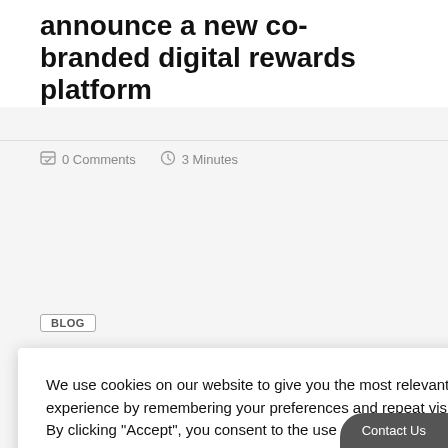announce a new co-branded digital rewards platform
0 Comments   3 Minutes
BLOG
residency ds and
We use cookies on our website to give you the most relevant experience by remembering your preferences and repeat visits. By clicking “Accept”, you consent to the use of ALL the cookies.
Cookie settings   ACCEPT
Contact Us